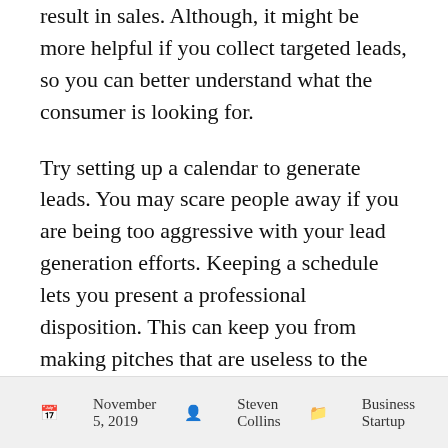result in sales. Although, it might be more helpful if you collect targeted leads, so you can better understand what the consumer is looking for.
Try setting up a calendar to generate leads. You may scare people away if you are being too aggressive with your lead generation efforts. Keeping a schedule lets you present a professional disposition. This can keep you from making pitches that are useless to the same prospective leads constantly.
Lead generation is vital to the success of your company. When you aren't doing it right, you'll struggle with your business. When you begin to use the advice here you're going to get new customers in just about every situation.
November 5, 2019  Steven Collins  Business Startup